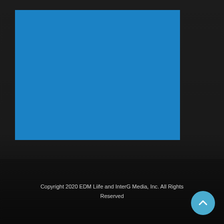[Figure (other): Solid blue rectangle placeholder image area]
Copyright 2020 EDM Liife and InterG Media, Inc. All Rights Reserved